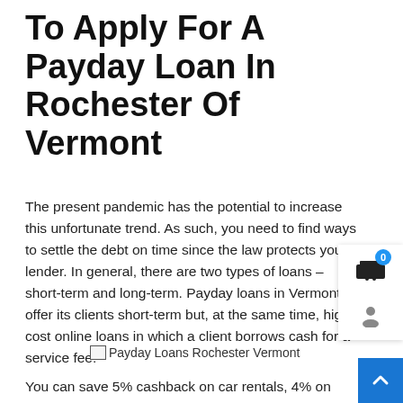To Apply For A Payday Loan In Rochester Of Vermont
The present pandemic has the potential to increase this unfortunate trend. As such, you need to find ways to settle the debt on time since the law protects your lender. In general, there are two types of loans – short-term and long-term. Payday loans in Vermont offer its clients short-term but, at the same time, high-cost online loans in which a client borrows cash for a service fee.
[Figure (other): Broken image placeholder labeled 'Payday Loans Rochester Vermont']
You can save 5% cashback on car rentals, 4% on hotels